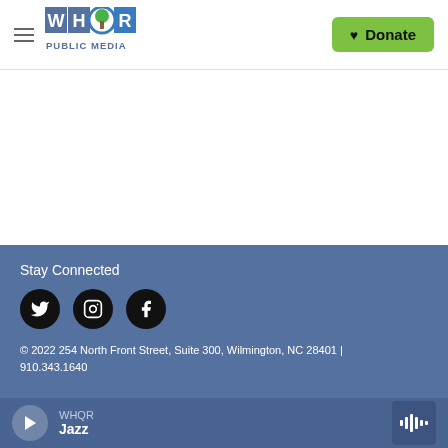WHQR PUBLIC MEDIA | Donate
[Figure (logo): WHQR Public Media logo with tree icon]
Stay Connected
[Figure (infographic): Social media icons: Twitter, Instagram, Facebook]
© 2022 254 North Front Street, Suite 300, Wilmington, NC 28401 | 910.343.1640
WHQR Jazz